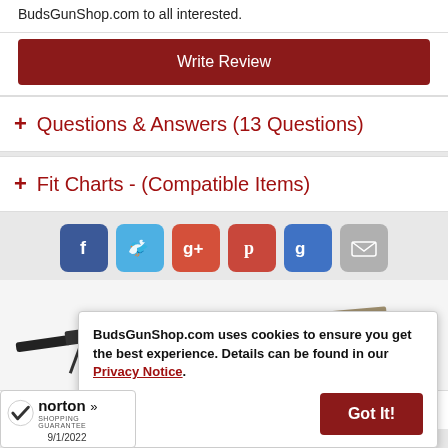BudsGunShop.com to all interested.
Write Review
+ Questions & Answers (13 Questions)
+ Fit Charts - (Compatible Items)
[Figure (infographic): Social sharing icons: Facebook, Twitter, Google+, Pinterest, Google, Email]
[Figure (photo): Product images: rifle with bipod on left, pistol on right]
BudsGunShop.com uses cookies to ensure you get the best experience. Details can be found in our Privacy Notice.
Got It!
[Figure (logo): Norton Shopping Guarantee badge with checkmark, date 9/1/2022]